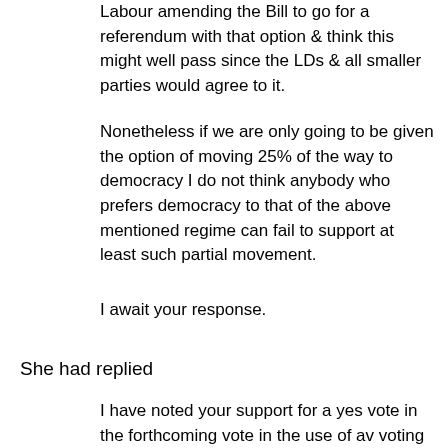Labour amending the Bill to go for a referendum with that option & think this might well pass since the LDs & all smaller parties would agree to it.
Nonetheless if we are only going to be given the option of moving 25% of the way to democracy I do not think anybody who prefers democracy to that of the above mentioned regime can fail to support at least such partial movement.
I await your response.
She had replied
I have noted your support for a yes vote in the forthcoming vote in the use of av voting system for Westminster elections.
I can confirm that I am in favour of the proposed change and will be voting in support.
Ann is very much a party loyalist & has now been appointed